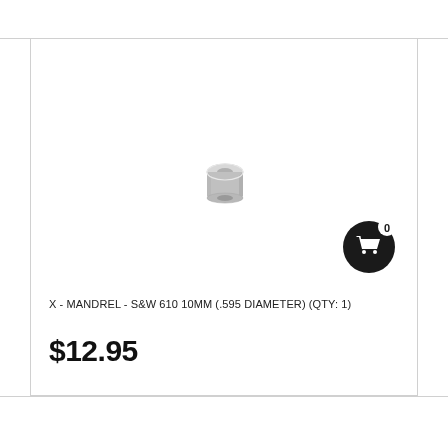[Figure (photo): Small silver/chrome cylindrical mandrel bushing (S&W 610 10MM, .595 diameter) photographed on white background. A black circular shopping cart badge with '0' count appears in the lower right of the product image area.]
X - MANDREL - S&W 610 10MM (.595 DIAMETER) (QTY: 1)
$12.95